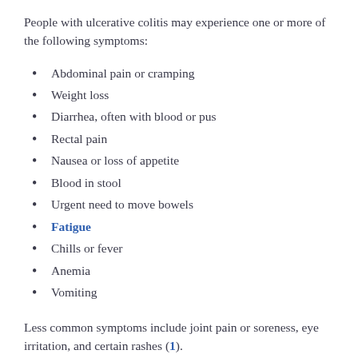People with ulcerative colitis may experience one or more of the following symptoms:
Abdominal pain or cramping
Weight loss
Diarrhea, often with blood or pus
Rectal pain
Nausea or loss of appetite
Blood in stool
Urgent need to move bowels
Fatigue
Chills or fever
Anemia
Vomiting
Less common symptoms include joint pain or soreness, eye irritation, and certain rashes (1).